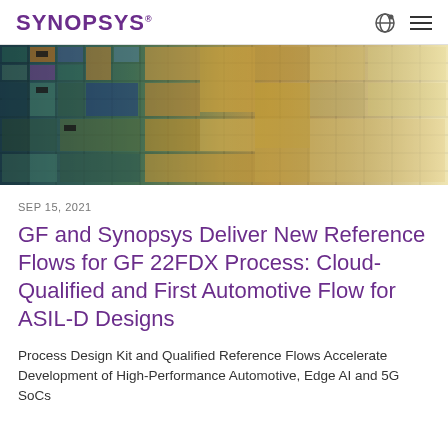SYNOPSYS
[Figure (photo): Aerial close-up photograph of semiconductor wafer showing colorful chip dies in a grid pattern with teal, blue, gold, yellow, and purple hues]
SEP 15, 2021
GF and Synopsys Deliver New Reference Flows for GF 22FDX Process: Cloud-Qualified and First Automotive Flow for ASIL-D Designs
Process Design Kit and Qualified Reference Flows Accelerate Development of High-Performance Automotive, Edge AI and 5G SoCs